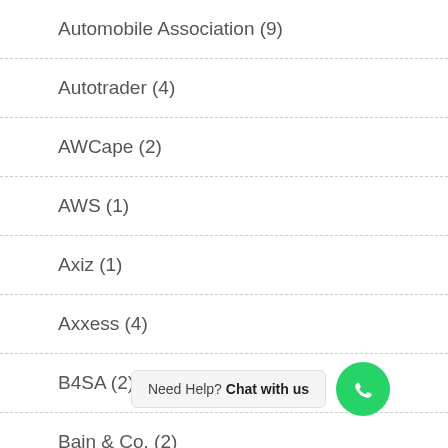Automobile Association (9)
Autotrader (4)
AWCape (2)
AWS (1)
Axiz (1)
Axxess (4)
B4SA (2)
Bain & Co. (2)
Baker McKenzie (4)
Balwin (1)